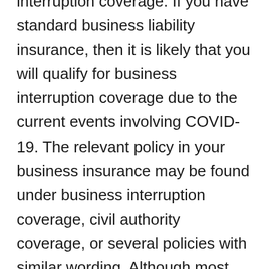interruption coverage. If you have standard business liability insurance, then it is likely that you will qualify for business interruption coverage due to the current events involving COVID-19. The relevant policy in your business insurance may be found under business interruption coverage, civil authority coverage, or several policies with similar wording. Although most standard liability policies include interruption coverage, a vast majority of insurance companies will do everything they can to downplay this type of coverage or even avoid paying claims. Insurance companies may refuse to honor claimed policies by utilizing small print exceptions in an attempt to reject a claim. It is vital that you do not give up, even if your insurance company has denied you